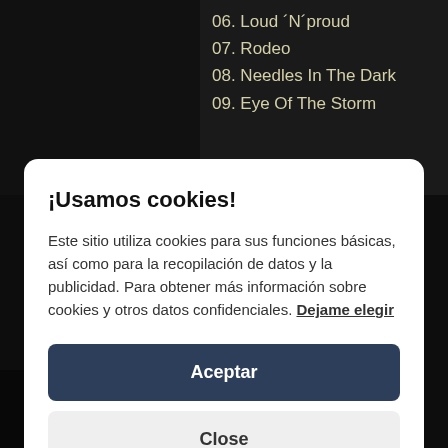06. Loud ´N´proud
07. Rodeo
08. Needles In The Dark
09. Eye Of The Storm
¡Usamos cookies! Este sitio utiliza cookies para sus funciones básicas, así como para la recopilación de datos y la publicidad. Para obtener más información sobre cookies y otros datos confidenciales. Dejame elegir
Aceptar
Close
Bull's Eye
Last Beauty On Earth
Serpentine
Will You Still Kiss Me (When I See You In